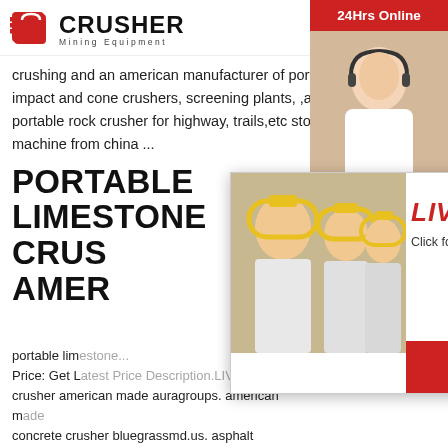[Figure (logo): Crusher Mining Equipment logo with red shopping bag icon and bold CRUSHER text]
crushing and an american manufacturer of portable jaw, impact and cone crushers, screening plants, ,american made portable rock crusher for highway, trails,etc stone crusher machine from china ...
PORTABLE LIMESTONE CRUSHER AMERICAN MADE
portable lim... Price: Get Latest Price Description.LIVE CHAT. crusher american made auragroups. american made concrete crusher bluegrassmd.us. asphalt crush... crushers New American Made Portable Jaw Cru... Nov 22, 2013183 Here is a brief video I shot of portable jaw plant we installed last year
PORTABLE LIMESTONE
[Figure (screenshot): Live chat popup overlay with workers in yellow hard hats, LIVE CHAT text in red italic, Click for a Free Consultation, Chat now and Chat later buttons, and headset customer service lady on the right side]
24Hrs Online
Need questions & suggestion?
Chat Now
Enquiry
limingjlmofen@sina.com